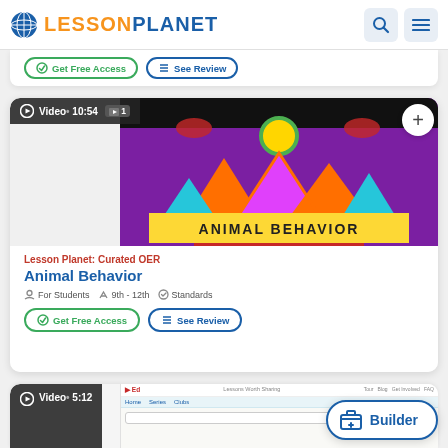Lesson Planet
[Figure (screenshot): Lesson Planet website header with globe logo, search and menu icons]
Get Free Access | See Review
[Figure (screenshot): Animal Behavior video thumbnail with colorful geometric animal art on purple background, title ANIMAL BEHAVIOR THE FOUR KINGDOMS]
Video• 10:54  1
Lesson Planet: Curated OER
Animal Behavior
For Students  9th - 12th  Standards
Get Free Access | See Review
[Figure (screenshot): Bottom partial card showing Video 5:12 and an Ed website screenshot]
Builder